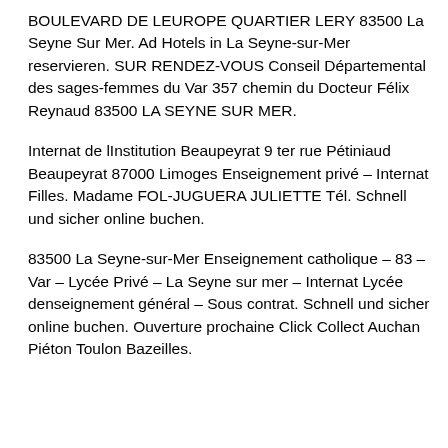BOULEVARD DE LEUROPE QUARTIER LERY 83500 La Seyne Sur Mer. Ad Hotels in La Seyne-sur-Mer reservieren. SUR RENDEZ-VOUS Conseil Départemental des sages-femmes du Var 357 chemin du Docteur Félix Reynaud 83500 LA SEYNE SUR MER.
Internat de lInstitution Beaupeyrat 9 ter rue Pétiniaud Beaupeyrat 87000 Limoges Enseignement privé – Internat Filles. Madame FOL-JUGUERA JULIETTE Tél. Schnell und sicher online buchen.
83500 La Seyne-sur-Mer Enseignement catholique – 83 – Var – Lycée Privé – La Seyne sur mer – Internat Lycée denseignement général – Sous contrat. Schnell und sicher online buchen. Ouverture prochaine Click Collect Auchan Piéton Toulon Bazeilles.